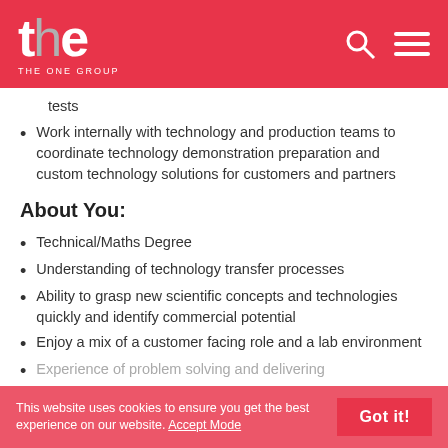THE ONE GROUP
tests
Work internally with technology and production teams to coordinate technology demonstration preparation and custom technology solutions for customers and partners
About You:
Technical/Maths Degree
Understanding of technology transfer processes
Ability to grasp new scientific concepts and technologies quickly and identify commercial potential
Enjoy a mix of a customer facing role and a lab environment
Experience of problem solving and delivering...